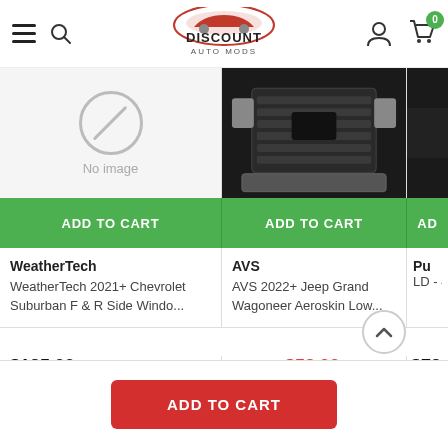[Figure (screenshot): Discount Auto Mods website navigation bar with hamburger menu, search icon, logo, user icon, and cart icon with badge showing 0]
[Figure (photo): No image placeholder (circle with slash) for first product card]
[Figure (photo): Front grille of a Jeep Grand Wagoneer in dark color]
[Figure (photo): Partially visible dark vehicle side image for third product card]
ADD TO CART
ADD TO CART
ADD
WeatherTech
WeatherTech 2021+ Chevrolet Suburban F & R Side Windo...
$125.99
AVS
AVS 2022+ Jeep Grand Wagoneer Aeroskin Low...
$108.99  $52.99
Pu
Putco 14-18 LD - 4 Door
$72.99
ADD TO CART